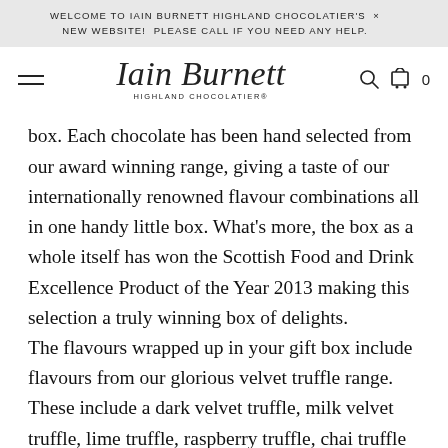WELCOME TO IAIN BURNETT HIGHLAND CHOCOLATIER'S NEW WEBSITE!  PLEASE CALL IF YOU NEED ANY HELP.
[Figure (logo): Iain Burnett Highland Chocolatier logo with script font name and subtitle, plus hamburger menu icon on left and search/cart icons on right]
box. Each chocolate has been hand selected from our award winning range, giving a taste of our internationally renowned flavour combinations all in one handy little box. What's more, the box as a whole itself has won the Scottish Food and Drink Excellence Product of the Year 2013 making this selection a truly winning box of delights.
The flavours wrapped up in your gift box include flavours from our glorious velvet truffle range. These include a dark velvet truffle, milk velvet truffle, lime truffle, raspberry truffle, chai truffle and a stunningly exquisite rose truffle. Accompanied by a number of our other handmade chocolates, your give will be a sure hit